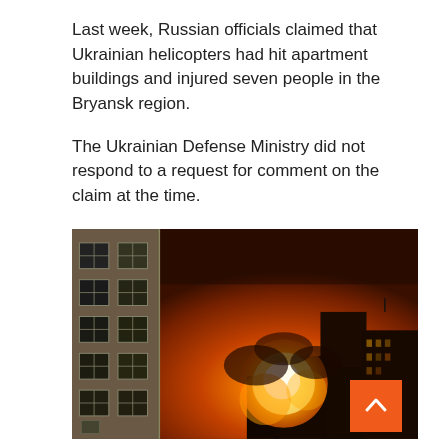Last week, Russian officials claimed that Ukrainian helicopters had hit apartment buildings and injured seven people in the Bryansk region.

The Ukrainian Defense Ministry did not respond to a request for comment on the claim at the time.
[Figure (photo): Nighttime photo showing a large fireball/explosion with orange glow against the sky, with an apartment building facade visible on the left side and city buildings silhouetted in the background.]